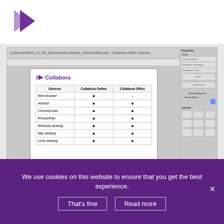[Figure (logo): Collabora purple arrow/chevron logo]
[Figure (screenshot): Screenshot of Collabora Office Impress showing a slide with the Collabora logo and a compatibility table listing Devices (Web browser, Android, Chromebooks, iPhone/iPad, Windows desktop, Mac desktop, Linux desktop) vs Collabora Online and Collabora Office support (filled circles), with a Properties panel on the right side]
The interoperability of transparent shadows in tables saw further improvements in
We use cookies on this website to ensure that you get the best experience.
That's fine
Read more